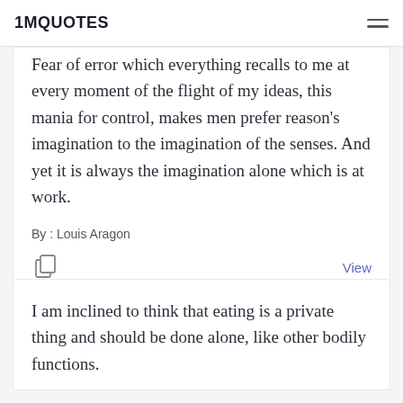1MQUOTES
Fear of error which everything recalls to me at every moment of the flight of my ideas, this mania for control, makes men prefer reason's imagination to the imagination of the senses. And yet it is always the imagination alone which is at work.
By : Louis Aragon
View
I am inclined to think that eating is a private thing and should be done alone, like other bodily functions.